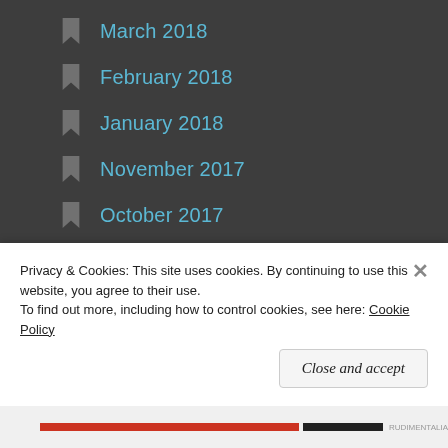March 2018
February 2018
January 2018
November 2017
October 2017
September 2017
August 2017
July 2017
June 2017
Privacy & Cookies: This site uses cookies. By continuing to use this website, you agree to their use.
To find out more, including how to control cookies, see here: Cookie Policy
Close and accept